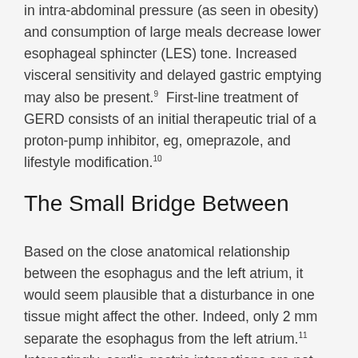in intra-abdominal pressure (as seen in obesity) and consumption of large meals decrease lower esophageal sphincter (LES) tone. Increased visceral sensitivity and delayed gastric emptying may also be present.9  First-line treatment of GERD consists of an initial therapeutic trial of a proton-pump inhibitor, eg, omeprazole, and lifestyle modification.10
The Small Bridge Between
Based on the close anatomical relationship between the esophagus and the left atrium, it would seem plausible that a disturbance in one tissue might affect the other. Indeed, only 2 mm separate the esophagus from the left atrium.11  Interestingly, cardio-gastric interactions are not new. A rare and fatal complication of left atrial catheter ablation is the development of an esophageal fistula.11 Moreover, a number of